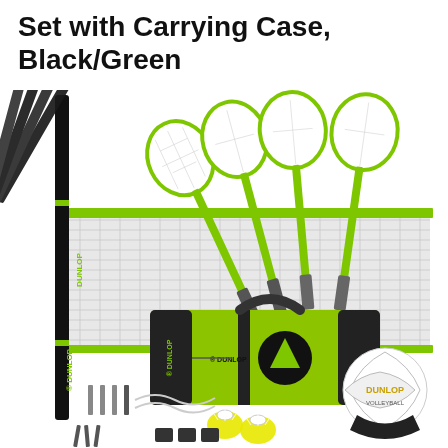Set with Carrying Case, Black/Green
[Figure (photo): Dunlop badminton/volleyball set product photo showing: four green badminton rackets fanned out, a white/green badminton net on black poles labeled DUNLOP, a green and black Dunlop carrying bag, a white volleyball with Dunlop logo, two yellow shuttlecocks, net accessories, and pole hardware — all on white background.]